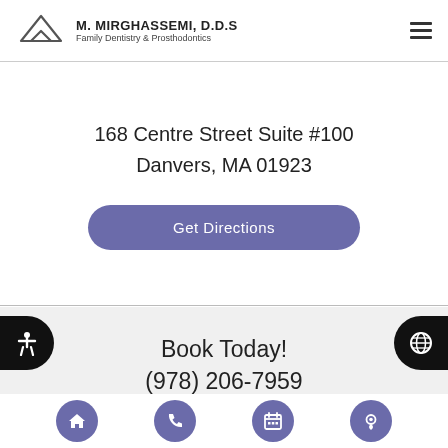M. MIRGHASSEMI, D.D.S — Family Dentistry & Prosthodontics
168 Centre Street Suite #100
Danvers, MA 01923
Get Directions
Book Today!
(978) 206-7959
Request Appointment